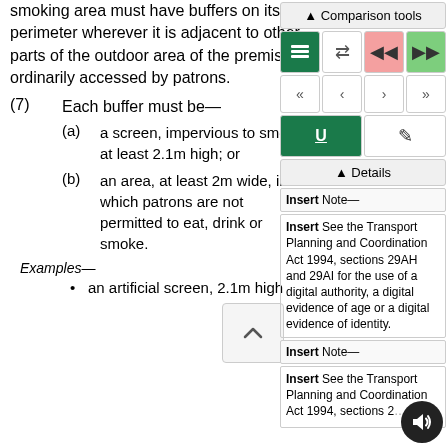smoking area must have buffers on its perimeter wherever it is adjacent to other parts of the outdoor area of the premises ordinarily accessed by patrons.
(7)    Each buffer must be—
(a)    a screen, impervious to smoke, at least 2.1m high; or
(b)    an area, at least 2m wide, in which patrons are not permitted to eat, drink or smoke.
Examples—
an artificial screen, 2.1m high
[Figure (screenshot): Comparison tools UI panel with navigation buttons, underline and pencil icons, Details section, and Insert Note boxes with Transport Planning and Coordination Act 1994 references.]